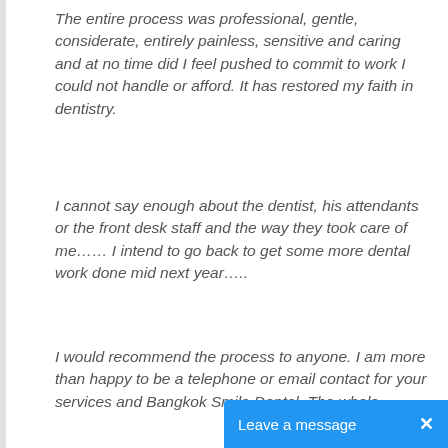The entire process was professional, gentle, considerate, entirely painless, sensitive and caring and at no time did I feel pushed to commit to work I could not handle or afford. It has restored my faith in dentistry.
I cannot say enough about the dentist, his attendants or the front desk staff and the way they took care of me…… I intend to go back to get some more dental work done mid next year…..
I would recommend the process to anyone. I am more than happy to be a telephone or email contact for your services and Bangkok Smile Dental. The whole process you put together went like clockwork.
As for the cost, the work came to about a third to a half what I was quoted in NZ for significantly less work and of less quality and we had 18 days of holiday and shopping as a bonus!
Despite all the gloom and doom from colleagues and my dentist about me coming b... ...